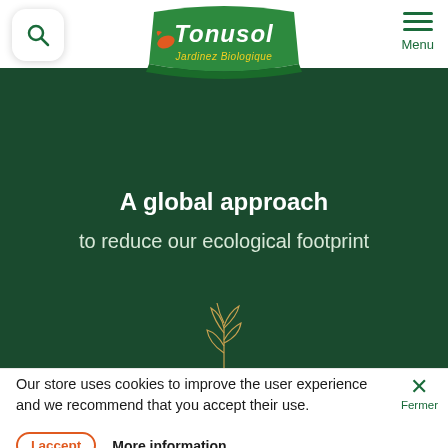[Figure (logo): Tonusol Jardinez Biologique logo — green banner shape with white bold italic text 'Tonusol' and yellow italic text 'Jardinez Biologique' below, with a small orange/red bird motif]
A global approach
to reduce our ecological footprint
[Figure (illustration): Small golden/amber line illustration of a plant or tree]
Our store uses cookies to improve the user experience and we recommend that you accept their use.
I accept   More information